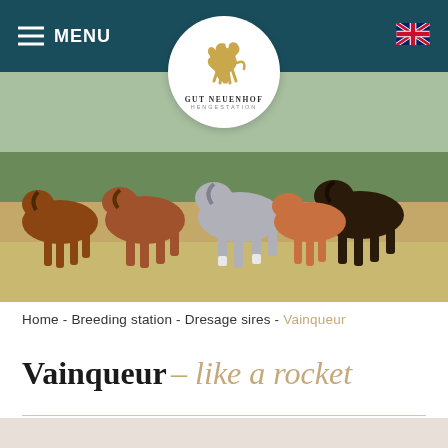MENU
[Figure (logo): Gut Neuenhof Hengestation logo – gold rearing horse on white circle background with text 'Gut Neuenhof Hengestation']
[Figure (photo): Hero photograph of a group of horses galloping across a field, various colors including brown, grey, and dark bay, with trees in background]
Home - Breeding station - Dresage sires - Vainqueur
Vainqueur – like a rocket